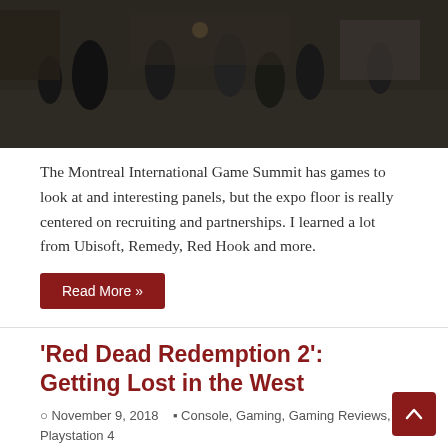[Figure (photo): Crowd scene at Montreal International Game Summit expo floor, people walking around in a dark indoor venue]
The Montreal International Game Summit has games to look at and interesting panels, but the expo floor is really centered on recruiting and partnerships. I learned a lot from Ubisoft, Remedy, Red Hook and more.
Read More »
'Red Dead Redemption 2': Getting Lost in the West
November 9, 2018   Console, Gaming, Gaming Reviews, Playstation 4   Comments Off
[Figure (photo): Close-up of a character wearing a brown cowboy hat from Red Dead Redemption 2 video game]